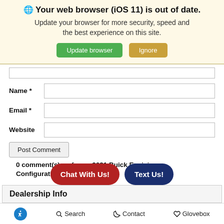[Figure (screenshot): Browser out-of-date warning banner with globe icon, bold text 'Your web browser (iOS 11) is out of date.', subtext 'Update your browser for more security, speed and the best experience on this site.', green 'Update browser' button and tan 'Ignore' button.]
Name *
Email *
Website
Post Comment
0 comment(s) so far on 2021 Buick Envision Configurations
Dealership Info
Chat With Us!
Text Us!
🔵 Search  Contact  Glovebox